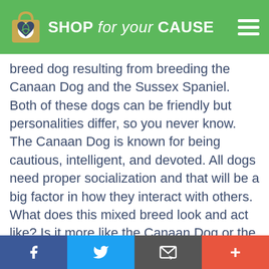SHOP for your CAUSE
breed dog resulting from breeding the Canaan Dog and the Sussex Spaniel. Both of these dogs can be friendly but personalities differ, so you never know. The Canaan Dog is known for being cautious, intelligent, and devoted. All dogs need proper socialization and that will be a big factor in how they interact with others. What does this mixed breed look and act like? Is it more like the Canaan Dog or the Sussex Spaniel? Those are the questions we will try and answer below. Continue reading below to see pictures, videos, and learn more about the beautiful Canaan Dog Sussex Spaniel Mix.
Facebook | Twitter | Mail | +